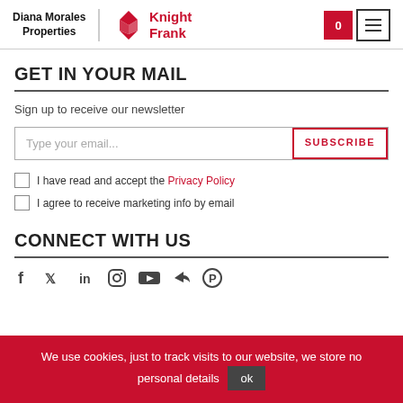Diana Morales Properties | Knight Frank
GET IN YOUR MAIL
Sign up to receive our newsletter
Type your email... [SUBSCRIBE button]
I have read and accept the Privacy Policy
I agree to receive marketing info by email
CONNECT WITH US
[Figure (other): Social media icons row: Facebook, Twitter, LinkedIn, Instagram, YouTube, share, Pinterest]
We use cookies, just to track visits to our website, we store no personal details  ok